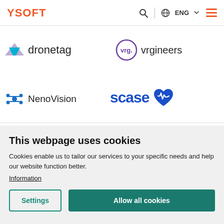YSOFT | Search | ENG | Menu
[Figure (logo): Dronetag logo with purple/teal arrow icon and text 'dronetag']
[Figure (logo): Vrgineers logo with 'vrg.' in circle and 'vrgineers' text]
[Figure (logo): NenoVision logo with blue snowflake/molecule icon and 'NenoVision' text]
[Figure (logo): scase logo with blue 'scase' text and blue heart with ECG line icon]
This webpage uses cookies
Cookies enable us to tailor our services to your specific needs and help our website function better.
Information
Settings | Allow all cookies